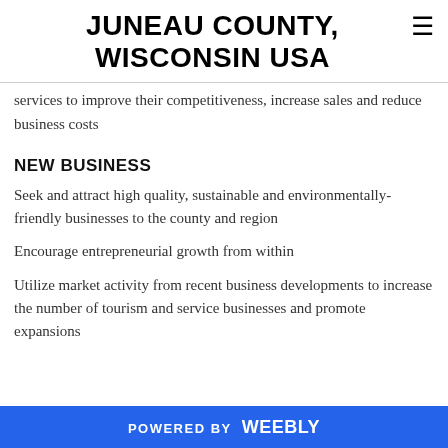JUNEAU COUNTY, WISCONSIN USA
services to improve their competitiveness, increase sales and reduce business costs
NEW BUSINESS
Seek and attract high quality, sustainable and environmentally-friendly businesses to the county and region
Encourage entrepreneurial growth from within
Utilize market activity from recent business developments to increase the number of tourism and service businesses and promote expansions
POWERED BY weebly